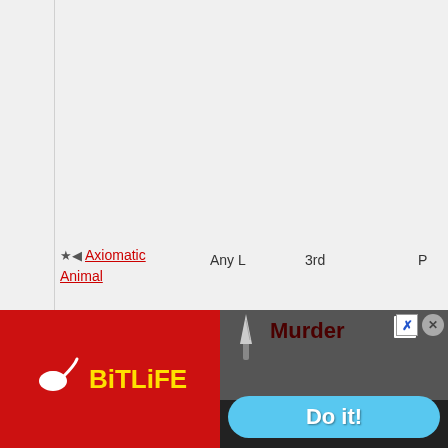* Axiomatic Animal   Any L   3rd   P
[Figure (screenshot): Advertisement banner for BitLife mobile game (left: red background with BitLife logo and sperm icon in yellow text) and a Murder 'Do it!' ad (right: dark background with knife image, 'Murder' text, and blue 'Do it!' button). Close and help buttons visible in top right.]